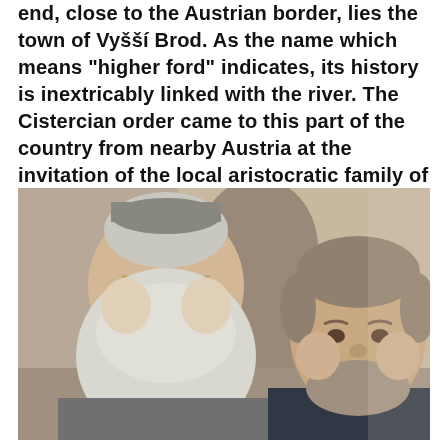end, close to the Austrian border, lies the town of Vyšší Brod. As the name which means "higher ford" indicates, its history is inextricably linked with the river. The Cistercian order came to this part of the country from nearby Austria at the invitation of the local aristocratic family of Rožmberks.
[Figure (photo): A selfie-style photograph of two men indoors. On the left is an elderly man with a large white beard and glasses wearing a grey garment. On the right is a middle-aged man with short grey-brown hair and a short beard wearing a dark shirt. The background shows an arched stone interior space.]